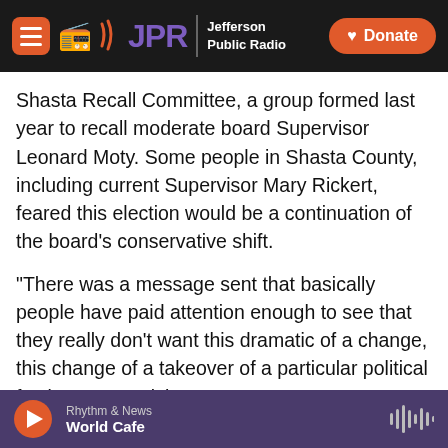JPR Jefferson Public Radio | Donate
Shasta Recall Committee, a group formed last year to recall moderate board Supervisor Leonard Moty. Some people in Shasta County, including current Supervisor Mary Rickert, feared this election would be a continuation of the board’s conservative shift.
“There was a message sent that basically people have paid attention enough to see that they really don’t want this dramatic of a change, this change of a takeover of a particular political faction,” says Rickert.
Far-right Supervisor Patrick Jones was elected to
Rhythm & News | World Cafe